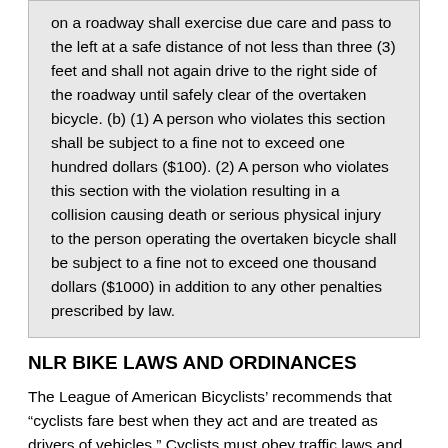on a roadway shall exercise due care and pass to the left at a safe distance of not less than three (3) feet and shall not again drive to the right side of the roadway until safely clear of the overtaken bicycle. (b) (1) A person who violates this section shall be subject to a fine not to exceed one hundred dollars ($100). (2) A person who violates this section with the violation resulting in a collision causing death or serious physical injury to the person operating the overtaken bicycle shall be subject to a fine not to exceed one thousand dollars ($1000) in addition to any other penalties prescribed by law.
NLR BIKE LAWS AND ORDINANCES
The League of American Bicyclists' recommends that “cyclists fare best when they act and are treated as drivers of vehicles.” Cyclists must obey traffic laws and ride on the right side of the road with the flow of traffic. By following traffic laws, a cyclist will be predictable to other cyclists, motorists, and pedestrians.
It is also important for a cyclist to be visible. While reflectors are nice, white front lights and red rear lights are necessary for